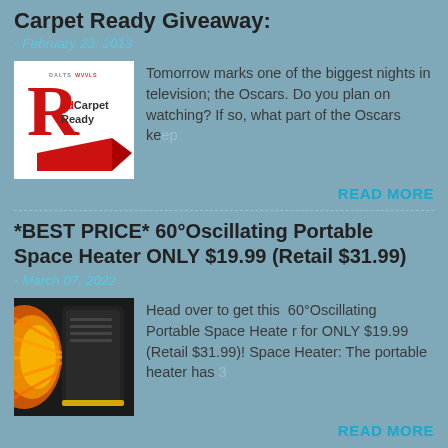Carpet Ready Giveaway:
- February 23, 2013
[Figure (logo): Red Carpet Ready logo with large red R and swoosh]
Tomorrow marks one of the biggest nights in television; the Oscars. Do you plan on watching? If so, what part of the Oscars ke…
READ MORE
*BEST PRICE* 60°Oscillating Portable Space Heater ONLY $19.99 (Retail $31.99)
- March 07, 2022
[Figure (photo): Black portable space heater with orange/yellow glow and orange heat rays on left side]
Head over to get this  60°Oscillating Portable Space Heate r for ONLY $19.99 (Retail $31.99)! Space Heater: The portable heater has 3
READ MORE